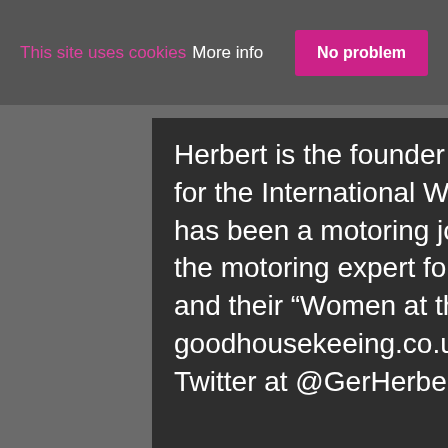This site uses cookies  More info  No problem
Herbert is the founder of wheelsforwomen. A jury member for the International Women's World Car of the Year, she has been a motoring journalist for over ten years and is the motoring expert for Good Housekeeping Magazine and their “Women at the Wheel” section of goodhousekeeing.co.uk. You can follow Geraldine on Twitter at @GerHerbert1